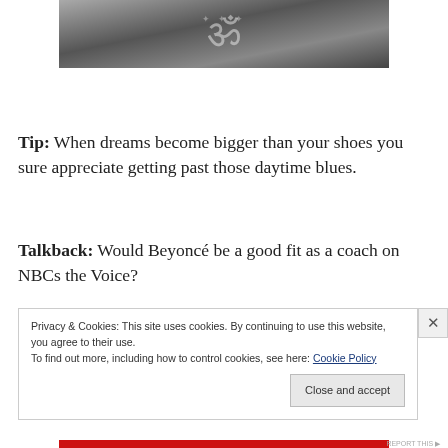[Figure (photo): Black and white photo of jewelry/decorative item with Om symbol or similar decorative metalwork on a chain, cropped at top of page]
Tip: When dreams become bigger than your shoes you sure appreciate getting past those daytime blues.
Talkback: Would Beyoncé be a good fit as a coach on NBCs the Voice?
Privacy & Cookies: This site uses cookies. By continuing to use this website, you agree to their use. To find out more, including how to control cookies, see here: Cookie Policy
Close and accept